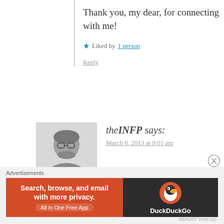Thank you, my dear, for connecting with me!
★ Liked by 1 person
Reply
[Figure (photo): Black and white profile photo of a man with glasses and beard]
theINFP says:
March 8, 2013 at 9:01 am
I look forward to reading more on your blog 🙂
Advertisements
[Figure (infographic): DuckDuckGo advertisement banner: Search, browse, and email with more privacy. All in One Free App]